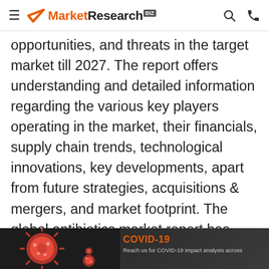MarketResearch.biz
opportunities, and threats in the target market till 2027. The report offers understanding and detailed information regarding the various key players operating in the market, their financials, supply chain trends, technological innovations, key developments, apart from future strategies, acquisitions & mergers, and market footprint. The global antibiotics market report has been segmented on the basis of product type, spectrum, and region.
[Figure (photo): COVID-19 banner image showing red virus cells on dark background with text: COVID-19 Reach us for COVID-19 impact analysis across industries]